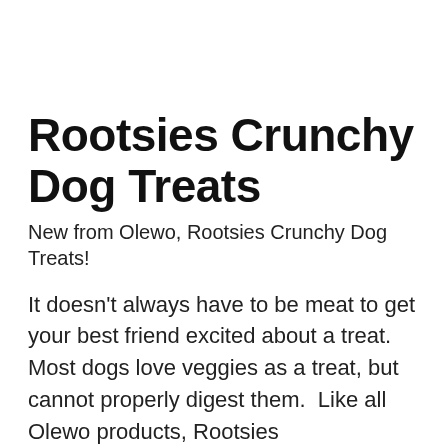Rootsies Crunchy Dog Treats
New from Olewo, Rootsies Crunchy Dog Treats!
It doesn't always have to be meat to get your best friend excited about a treat.  Most dogs love veggies as a treat, but cannot properly digest them.  Like all Olewo products, Rootsies